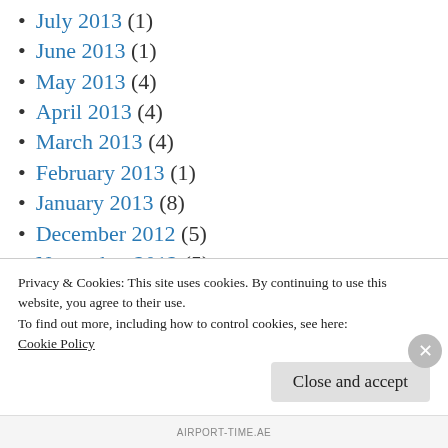July 2013 (1)
June 2013 (1)
May 2013 (4)
April 2013 (4)
March 2013 (4)
February 2013 (1)
January 2013 (8)
December 2012 (5)
November 2012 (5)
October 2012 (3)
September 2012 (1)
Privacy & Cookies: This site uses cookies. By continuing to use this website, you agree to their use. To find out more, including how to control cookies, see here: Cookie Policy
AIRPORT-TIME.AE